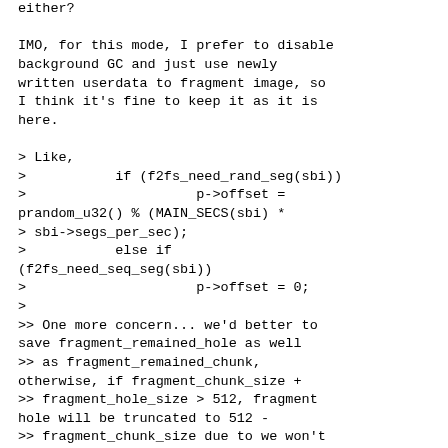either?

IMO, for this mode, I prefer to disable background GC and just use newly written userdata to fragment image, so I think it's fine to keep it as it is here.

> Like,
>           if (f2fs_need_rand_seg(sbi))
>                     p->offset = prandom_u32() % (MAIN_SECS(sbi) *
> sbi->segs_per_sec);
>           else if (f2fs_need_seq_seg(sbi))
>                     p->offset = 0;
>
>> One more concern... we'd better to save fragment_remained_hole as well >> as fragment_remained_chunk, otherwise, if fragment_chunk_size + >> fragment_hole_size > 512, fragment hole will be truncated to 512 - >> fragment_chunk_size due to we won't create hole with enough size as >> seg->next_blkoff has crossed end of current segment.
>>
>
> Sorry, I don't get it. You mean